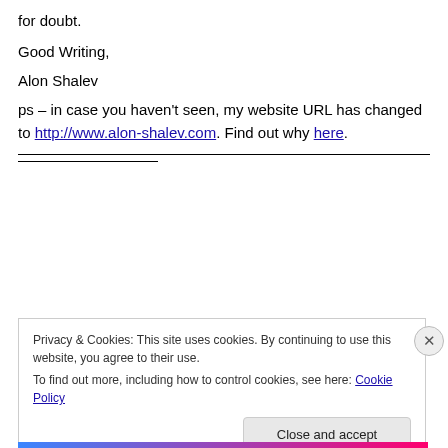for doubt.
Good Writing,
Alon Shalev
ps – in case you haven't seen, my website URL has changed to http://www.alon-shalev.com. Find out why here.
Privacy & Cookies: This site uses cookies. By continuing to use this website, you agree to their use.
To find out more, including how to control cookies, see here: Cookie Policy
Close and accept